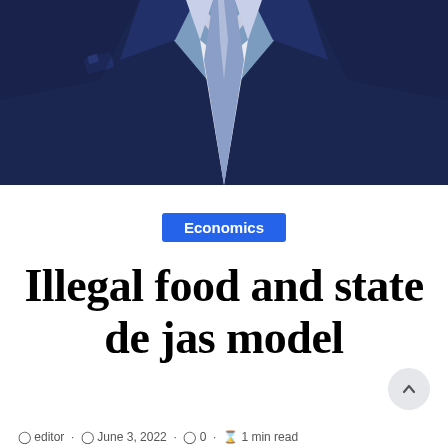[Figure (illustration): Illustration of a person in a dark navy suit with a light blue/grey tie, shown from chest up against a steel blue background. The figure has a formal business appearance.]
Economics
Illegal food and state de jas model
editor · June 3, 2022 · 0 · 1 min read